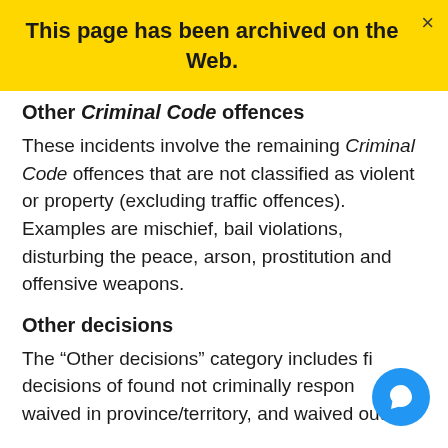This page has been archived on the Web.
Other Criminal Code offences
These incidents involve the remaining Criminal Code offences that are not classified as violent or property (excluding traffic offences). Examples are mischief, bail violations, disturbing the peace, arson, prostitution and offensive weapons.
Other decisions
The “Other decisions” category includes final decisions of found not criminally responsible, waived in province/territory, and waived out of